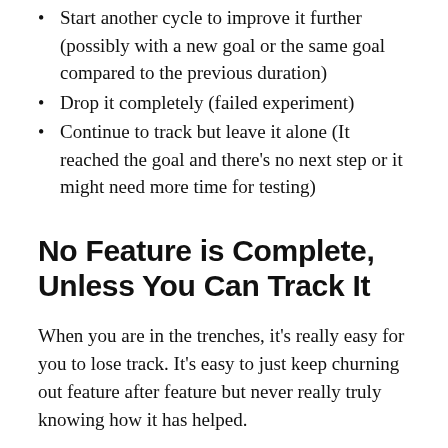Start another cycle to improve it further (possibly with a new goal or the same goal compared to the previous duration)
Drop it completely (failed experiment)
Continue to track but leave it alone (It reached the goal and there’s no next step or it might need more time for testing)
No Feature is Complete, Unless You Can Track It
When you are in the trenches, it’s really easy for you to lose track. It’s easy to just keep churning out feature after feature but never really truly knowing how it has helped.